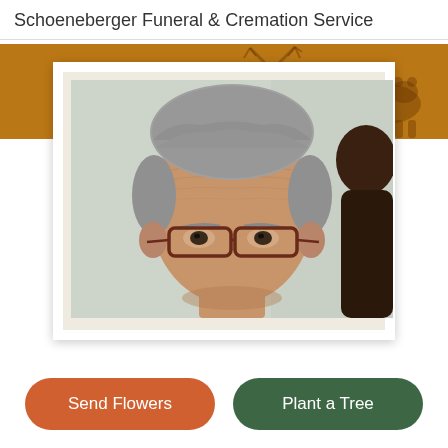Schoeneberger Funeral & Cremation Service
[Figure (illustration): Orange/amber banner with dark silhouettes of wildlife (deer, bear, person) against a warm golden background]
[Figure (photo): Close-up portrait photo of an elderly man with gray hair wearing glasses, shown from forehead to top of eyeglass frames, framed in white with cream mat]
Send Flowers
Plant a Tree